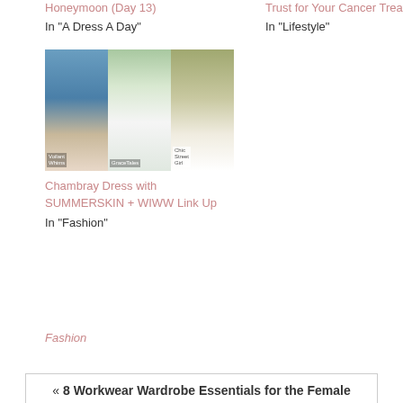Honeymoon (Day 13)
In "A Dress A Day"
Trust for Your Cancer Treatment
In "Lifestyle"
[Figure (photo): Collage of three women in summer dresses: chambray shirt dress, white off-shoulder mini dress, and olive outfit with bag]
Chambray Dress with SUMMERSKIN + WIWW Link Up
In "Fashion"
Fashion
« 8 Workwear Wardrobe Essentials for the Female